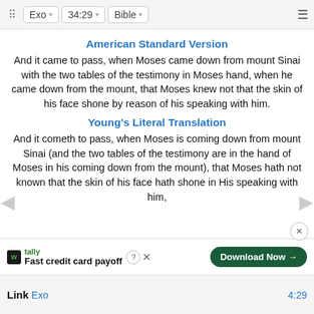Exo 34:29 Bible
American Standard Version
And it came to pass, when Moses came down from mount Sinai with the two tables of the testimony in Moses hand, when he came down from the mount, that Moses knew not that the skin of his face shone by reason of his speaking with him.
Young's Literal Translation
And it cometh to pass, when Moses is coming down from mount Sinai (and the two tables of the testimony are in the hand of Moses in his coming down from the mount), that Moses hath not known that the skin of his face hath shone in His speaking with him,
Link  Exo  4:29